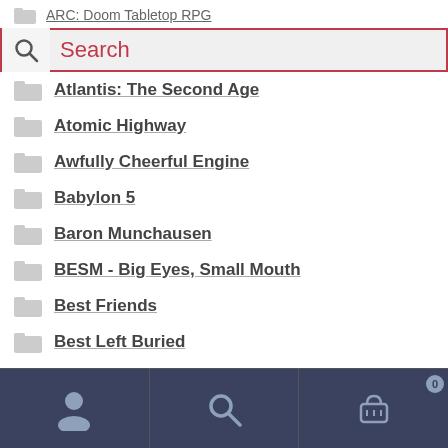ARC: Doom Tabletop RPG
[Figure (screenshot): Search bar with magnifying glass icon on left, red/pink border, placeholder text 'Search' in red]
Atlantis: The Second Age
Atomic Highway
Awfully Cheerful Engine
Babylon 5
Baron Munchausen
BESM - Big Eyes, Small Mouth
Best Friends
Best Left Buried
Bill Coffin's Septimus
Navigation bar with user icon, search icon, and cart icon with badge 0